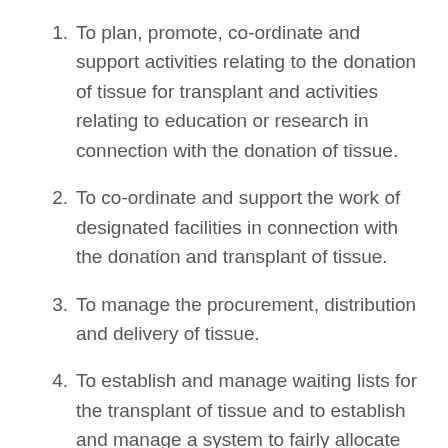To plan, promote, co-ordinate and support activities relating to the donation of tissue for transplant and activities relating to education or research in connection with the donation of tissue.
To co-ordinate and support the work of designated facilities in connection with the donation and transplant of tissue.
To manage the procurement, distribution and delivery of tissue.
To establish and manage waiting lists for the transplant of tissue and to establish and manage a system to fairly allocate tissue that is available.